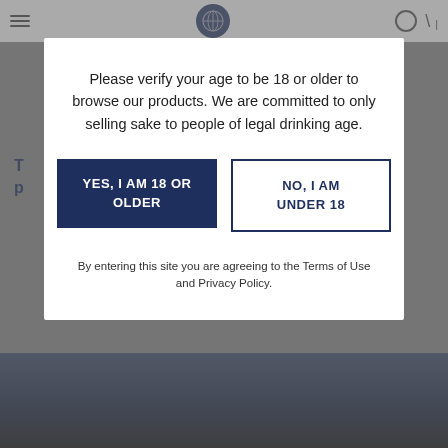Navigation bar with hamburger menu, logo, search and cart icons
Please verify your age to be 18 or older to browse our products. We are committed to only selling sake to people of legal drinking age.
YES, I AM 18 OR OLDER
NO, I AM UNDER 18
By entering this site you are agreeing to the Terms of Use and Privacy Policy.